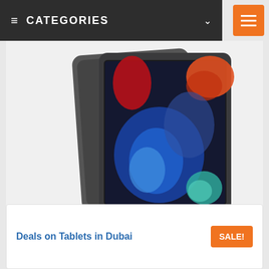CATEGORIES
[Figure (photo): 2021 Apple iPad (10.2-inch, 9th Generation) in Space Grey, showing the front and back of the device with a colorful abstract wallpaper visible on the screen.]
2021 Apple iPad (10.2-inch, Wi-Fi, 256GB) – Space Grey (9th Generation)...
AED1,999 AED1,768
Deals on Tablets in Dubai